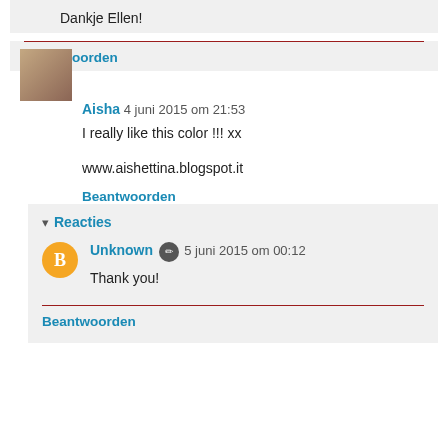Dankje Ellen!
Beantwoorden
Aisha 4 juni 2015 om 21:53
I really like this color !!! xx
www.aishettina.blogspot.it
Beantwoorden
Reacties
Unknown 5 juni 2015 om 00:12
Thank you!
Beantwoorden